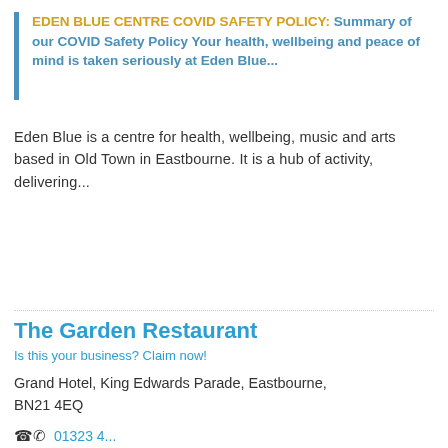EDEN BLUE CENTRE COVID SAFETY POLICY: Summary of our COVID Safety Policy Your health, wellbeing and peace of mind is taken seriously at Eden Blue...
Eden Blue is a centre for health, wellbeing, music and arts based in Old Town in Eastbourne. It is a hub of activity, delivering...
The Garden Restaurant
Is this your business? Claim now!
Grand Hotel, King Edwards Parade, Eastbourne, BN21 4EQ
01323 4...
Website
Message now
Review Now